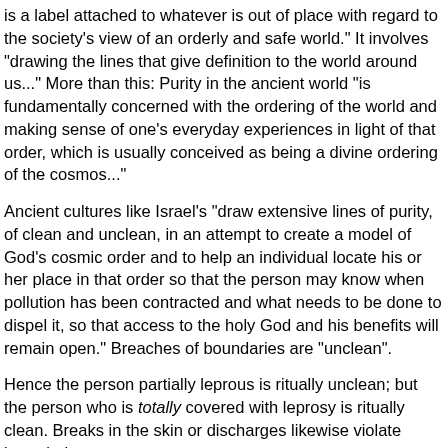is a label attached to whatever is out of place with regard to the society's view of an orderly and safe world." It involves "drawing the lines that give definition to the world around us..." More than this: Purity in the ancient world "is fundamentally concerned with the ordering of the world and making sense of one's everyday experiences in light of that order, which is usually conceived as being a divine ordering of the cosmos..."
Ancient cultures like Israel's "draw extensive lines of purity, of clean and unclean, in an attempt to create a model of God's cosmic order and to help an individual locate his or her place in that order so that the person may know when pollution has been contracted and what needs to be done to dispel it, so that access to the holy God and his benefits will remain open." Breaches of boundaries are "unclean".
Hence the person partially leprous is ritually unclean; but the person who is totally covered with leprosy is ritually clean. Breaks in the skin or discharges likewise violate boundaries